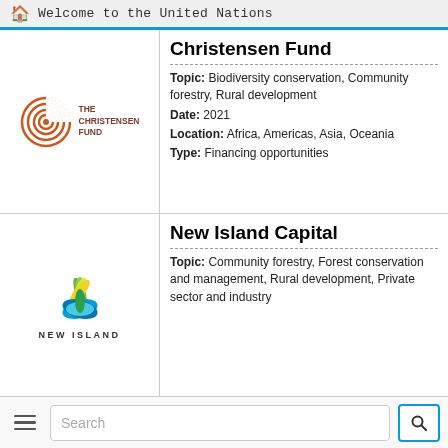Welcome to the United Nations
Christensen Fund
Topic: Biodiversity conservation, Community forestry, Rural development
Date: 2021
Location: Africa, Americas, Asia, Oceania
Type: Financing opportunities
[Figure (logo): The Christensen Fund logo — orange spiral shell shape with text THE CHRISTENSEN FUND]
New Island Capital
Topic: Community forestry, Forest conservation and management, Rural development, Private sector and industry
[Figure (logo): New Island logo — colorful leaf/flower design above text NEW ISLAND]
Search